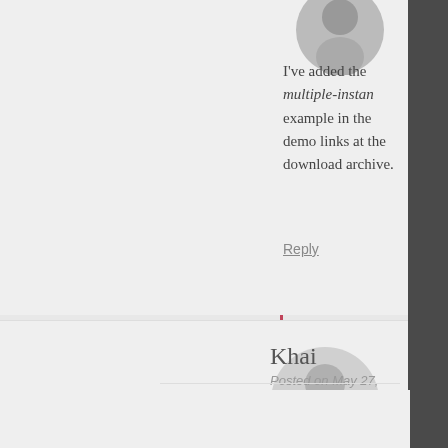I've added the multiple-instan example in the demo links at the download archive.
Reply
Khai
Posted on May 27, 2015
Thank you so much, th
Reply
Laura